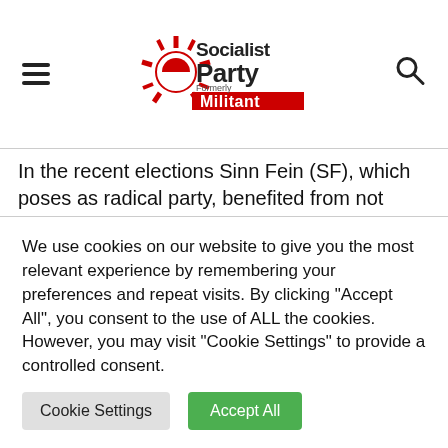Socialist Party (formerly Militant) — site header with logo, hamburger menu, and search icon
In the recent elections Sinn Fein (SF), which poses as radical party, benefited from not being tainted with the corruption of the establishment parties. However, while formally opposing the bin tax, SF played a minimal role in the campaign.
The Socialist Party, unlike Sinn Fein, had few
We use cookies on our website to give you the most relevant experience by remembering your preferences and repeat visits. By clicking "Accept All", you consent to the use of ALL the cookies. However, you may visit "Cookie Settings" to provide a controlled consent.